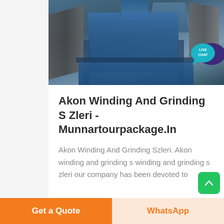[Figure (photo): Aerial view of industrial grinding/crushing machinery plant with blue conveyor belts and heavy equipment]
[Figure (infographic): Live Chat bubble icon in teal/purple in the top right corner]
Akon Winding And Grinding S Zleri - Munnartourpackage.In
Akon Winding And Grinding Szleri. Akon winding and grinding s winding and grinding s zleri our company has been devoted to
Get a Quote
WhatsApp